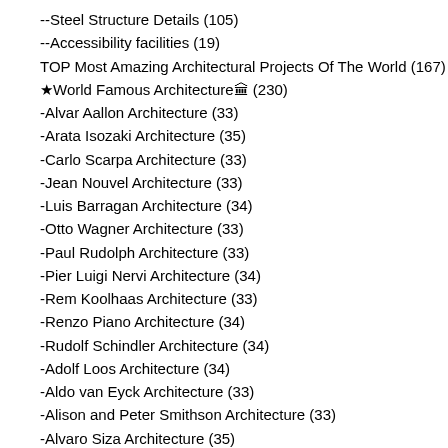--Steel Structure Details (105)
--Accessibility facilities (19)
TOP Most Amazing Architectural Projects Of The World (167)
★World Famous Architecture🏛 (230)
-Alvar Aallon Architecture (33)
-Arata Isozaki Architecture (35)
-Carlo Scarpa Architecture (33)
-Jean Nouvel Architecture (33)
-Luis Barragan Architecture (34)
-Otto Wagner Architecture (33)
-Paul Rudolph Architecture (33)
-Pier Luigi Nervi Architecture (34)
-Rem Koolhaas Architecture (33)
-Renzo Piano Architecture (34)
-Rudolf Schindler Architecture (34)
-Adolf Loos Architecture (34)
-Aldo van Eyck Architecture (33)
-Alison and Peter Smithson Architecture (33)
-Alvaro Siza Architecture (35)
-Antoni Gaudi Architecture (34)